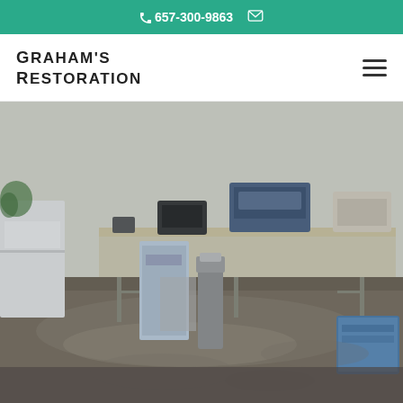657-300-9863 [phone] [email icon]
Graham's Restoration
[Figure (photo): Flooded office interior with standing water on the floor. A folding table holds printers and office equipment. A white cabinet is on the left, a blue cardboard box is on the right. The floor is covered with murky flood water.]